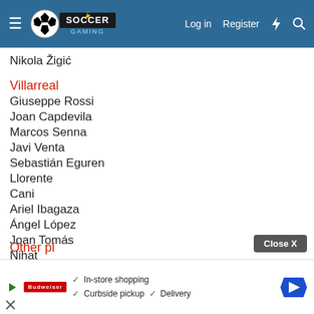Soccer Gaming - Log in | Register
Nikola Žigić
Villarreal
Giuseppe Rossi
Joan Capdevila
Marcos Senna
Javi Venta
Sebastián Eguren
Llorente
Cani
Ariel Ibagaza
Ángel López
Joan Tomás
Nihat
Jordi Pablo
Pascal Cygan
Fabricio F...
Other pl...